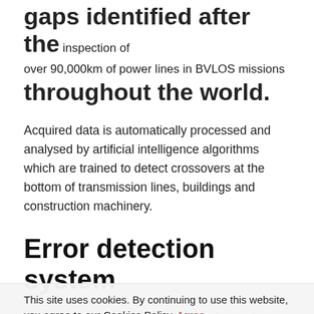gaps identified after the inspection of over 90,000km of power lines in BVLOS missions throughout the world.
Acquired data is automatically processed and analysed by artificial intelligence algorithms which are trained to detect crossovers at the bottom of transmission lines, buildings and construction machinery.
Error detection system
The system identifies rust on bolts, loosening and missing tower parts, birds' nests, etc.
This site uses cookies. By continuing to use this website, you agree to our Cookies Policy. Agree
92.5%. The algorithm is developed through a